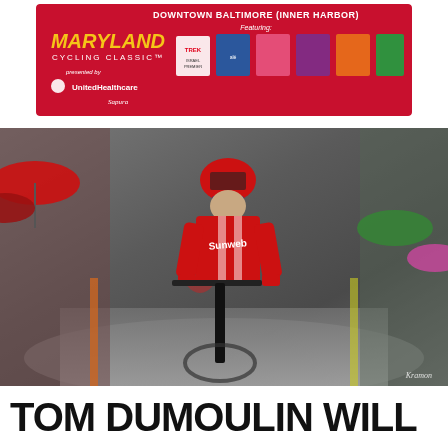[Figure (illustration): Maryland Cycling Classic advertisement banner with red background, yellow Maryland Cycling Classic logo, UnitedHealthcare sponsorship logo, team jerseys, and text 'Downtown Baltimore (Inner Harbor)' and 'Featuring:']
[Figure (photo): A cyclist in a red Sunweb team kit and red helmet riding in wet rainy conditions through a crowd-lined street. Photo credit: Kramon]
TOM DUMOULIN WILL